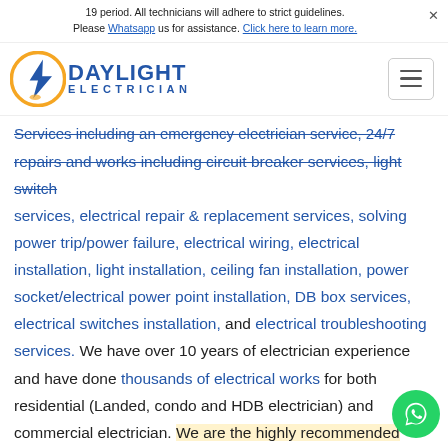19 period. All technicians will adhere to strict guidelines. Please Whatsapp us for assistance. Click here to learn more.
[Figure (logo): Daylight Electrician logo with lightning bolt and bulb icon in yellow/orange and blue, with text DAYLIGHT ELECTRICIAN]
repairs and works including circuit breaker services, light switch services, electrical repair & replacement services, solving power trip/power failure, electrical wiring, electrical installation, light installation, ceiling fan installation, power socket/electrical power point installation, DB box services, electrical switches installation, and electrical troubleshooting services. We have over 10 years of electrician experience and have done thousands of electrical works for both residential (Landed, condo and HDB electrician) and commercial electrician. We are the highly recommended electrician in Singapore with many happy customers and reviews. Call us for guaranteed transparent and honest pricing for all your electrical needs